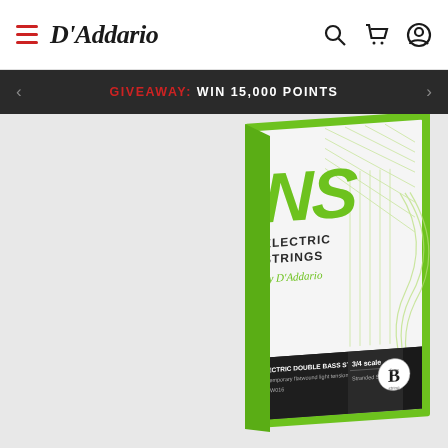D'Addario
GIVEAWAY: WIN 15,000 POINTS
[Figure (photo): D'Addario NS Electric Strings product packaging for Electric Double Bass String, contemporary flatwound light tension NSFW016, 3/4 scale, Stranded Steel Core, Tone B string. Green bordered white package with NS Electric Strings by D'Addario branding.]